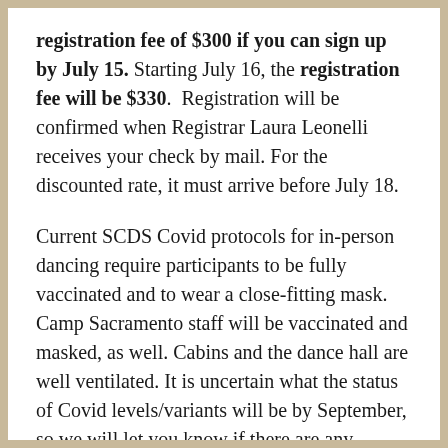registration fee of $300 if you can sign up by July 15. Starting July 16, the registration fee will be $330.  Registration will be confirmed when Registrar Laura Leonelli receives your check by mail. For the discounted rate, it must arrive before July 18.
Current SCDS Covid protocols for in-person dancing require participants to be fully vaccinated and to wear a close-fitting mask. Camp Sacramento staff will be vaccinated and masked, as well. Cabins and the dance hall are well ventilated. It is uncertain what the status of Covid levels/variants will be by September, so we will let you know if there are any changes to our policies.